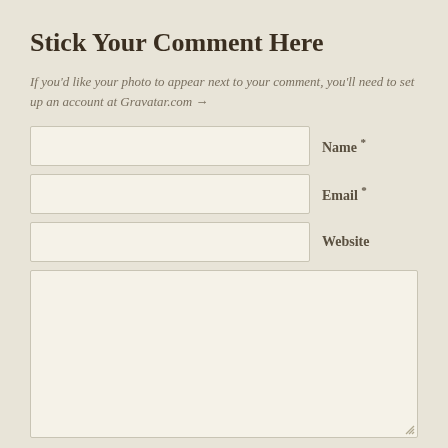Stick Your Comment Here
If you'd like your photo to appear next to your comment, you'll need to set up an account at Gravatar.com →
Name *
Email *
Website
Color... | Adhesive... | Tilt...